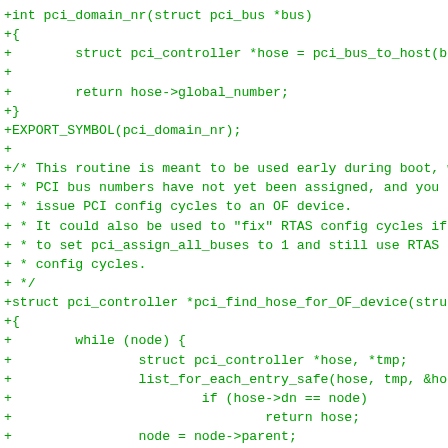[Figure (other): Diff/patch code snippet in green monospace font showing C source code additions for pci_domain_nr and pci_find_hose_for_OF_device functions]